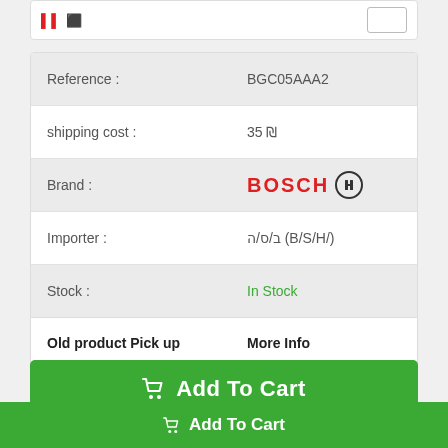| Field | Value |
| --- | --- |
| Reference : | BGC05AAA2 |
| shipping cost : | 35 ₪ |
| Brand : | BOSCH |
| Importer : | ב/ס/ה (B/S/H/) |
| Stock : | In Stock |
| Old product Pick up | More Info |
Add To Cart
Add To Cart